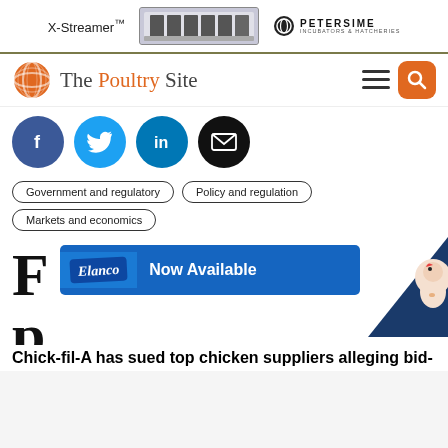[Figure (other): Petersime X-Streamer incubator advertisement banner with incubator machine image and Petersime logo]
[Figure (logo): The Poultry Site logo with orange globe icon and site name]
[Figure (infographic): Social media sharing icons: Facebook, Twitter, LinkedIn, Email]
Government and regulatory
Policy and regulation
Markets and economics
F
p
Chick-fil-A has sued top chicken suppliers alleging bid-